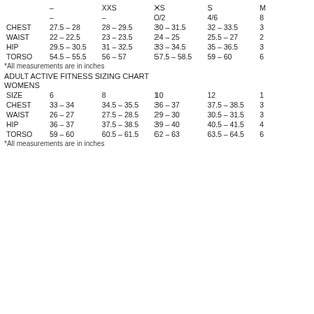| SIZE | – | XXS | XS | S | M… |
| --- | --- | --- | --- | --- | --- |
|  | – | XXS | XS | S | M |
|  | – | – | 0/2 | 4/6 | 8… |
| CHEST | 27.5 – 28 | 28 – 29.5 | 30 – 31.5 | 32 – 33.5 | 3… |
| WAIST | 22 – 22.5 | 23 – 23.5 | 24 – 25 | 25.5 – 27 | 2… |
| HIP | 29.5 – 30.5 | 31 – 32.5 | 33 – 34.5 | 35 – 36.5 | 3… |
| TORSO | 54.5 – 55.5 | 56 – 57 | 57.5 – 58.5 | 59 – 60 | 6… |
*All measurements are in inches
ADULT ACTIVE FITNESS SIZING CHART
WOMENS
| SIZE | 6 | 8 | 10 | 12 | 1… |
| --- | --- | --- | --- | --- | --- |
| SIZE | 6 | 8 | 10 | 12 | 1… |
| CHEST | 33 – 34 | 34.5 – 35.5 | 36 – 37 | 37.5 – 38.5 | 3… |
| WAIST | 26 – 27 | 27.5 – 28.5 | 29 – 30 | 30.5 – 31.5 | 3… |
| HIP | 36 – 37 | 37.5 – 38.5 | 39 – 40 | 40.5 – 41.5 | 4… |
| TORSO | 59 – 60 | 60.5 – 61.5 | 62 – 63 | 63.5 – 64.5 | 6… |
*All measurements are in inches